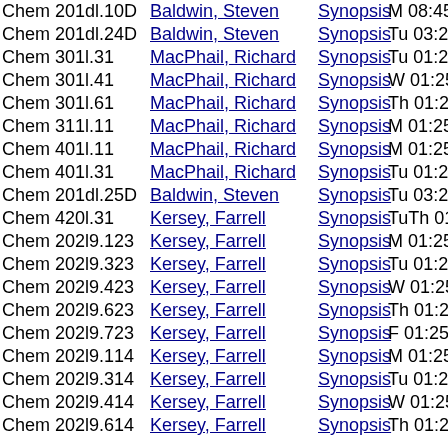Chem 201dl.10D Baldwin, Steven Synopsis M 08:45 AM-09:
Chem 201dl.24D Baldwin, Steven Synopsis Tu 03:20 PM-04:
Chem 301l.31 MacPhail, Richard Synopsis Tu 01:25 PM-05:
Chem 301l.41 MacPhail, Richard Synopsis W 01:25 PM-05:
Chem 301l.61 MacPhail, Richard Synopsis Th 01:25 PM-05:
Chem 311l.11 MacPhail, Richard Synopsis M 01:25 PM-05:
Chem 401l.11 MacPhail, Richard Synopsis M 01:25 PM-05:
Chem 401l.31 MacPhail, Richard Synopsis Tu 01:25 PM-05:
Chem 201dl.25D Baldwin, Steven Synopsis Tu 03:20 PM-04:
Chem 420l.31 Kersey, Farrell Synopsis TuTh 01:25 PM-
Chem 202l9.123 Kersey, Farrell Synopsis M 01:25 PM-04:
Chem 202l9.323 Kersey, Farrell Synopsis Tu 01:25 PM-04:
Chem 202l9.423 Kersey, Farrell Synopsis W 01:25 PM-04:
Chem 202l9.623 Kersey, Farrell Synopsis Th 01:25 PM-04:
Chem 202l9.723 Kersey, Farrell Synopsis F 01:25 PM-04:2
Chem 202l9.114 Kersey, Farrell Synopsis M 01:25 PM-04:
Chem 202l9.314 Kersey, Farrell Synopsis Tu 01:25 PM-04:
Chem 202l9.414 Kersey, Farrell Synopsis W 01:25 PM-04:
Chem 202l9.614 Kersey, Farrell Synopsis Th 01:25 PM-04: